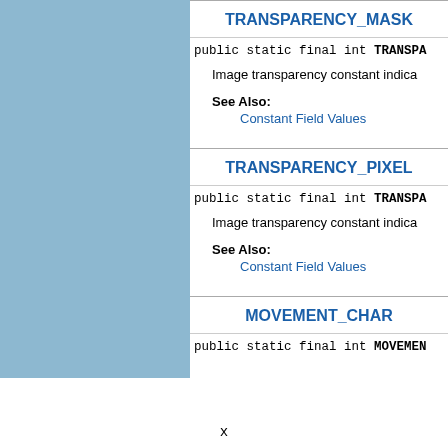TRANSPARENCY_MASK
public static final int TRANSPARENCY_MASK
Image transparency constant indica...
See Also:
Constant Field Values
TRANSPARENCY_PIXEL
public static final int TRANSPARENCY_PIXEL
Image transparency constant indica...
See Also:
Constant Field Values
MOVEMENT_CHAR
public static final int MOVEMENT_CHAR